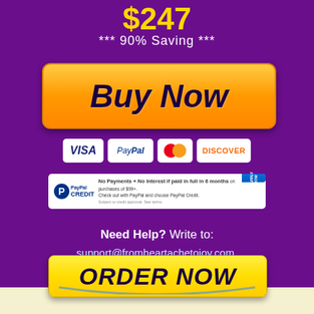$247
*** 90% Saving ***
[Figure (other): Orange gradient Buy Now button]
[Figure (other): Payment icons: VISA, PayPal, Mastercard, Discover]
[Figure (other): PayPal Credit banner: No Payments + No Interest if paid in full in 6 months on purchases of $99+. Check out with PayPal and choose PayPal Credit.]
Need Help? Write to: support@fromheartachetojoy.com,
[Figure (other): Yellow ORDER NOW button]